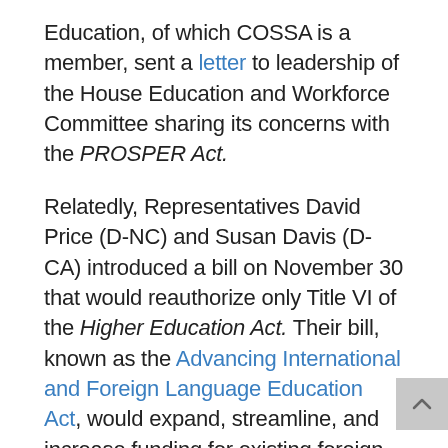Education, of which COSSA is a member, sent a letter to leadership of the House Education and Workforce Committee sharing its concerns with the PROSPER Act.
Relatedly, Representatives David Price (D-NC) and Susan Davis (D-CA) introduced a bill on November 30 that would reauthorize only Title VI of the Higher Education Act. Their bill, known as the Advancing International and Foreign Language Education Act, would expand, streamline, and increase funding for existing foreign language and area studies programs and is a stark contrast to the provisions included in the PROSPER Act.